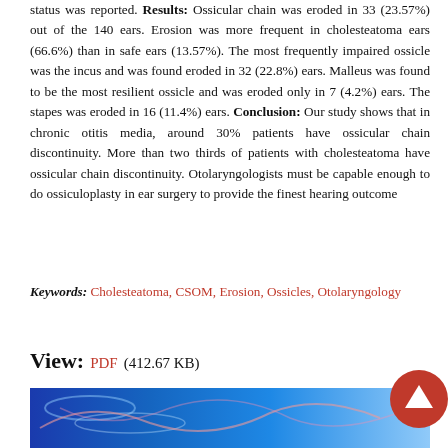status was reported. Results: Ossicular chain was eroded in 33 (23.57%) out of the 140 ears. Erosion was more frequent in cholesteatoma ears (66.6%) than in safe ears (13.57%). The most frequently impaired ossicle was the incus and was found eroded in 32 (22.8%) ears. Malleus was found to be the most resilient ossicle and was eroded only in 7 (4.2%) ears. The stapes was eroded in 16 (11.4%) ears. Conclusion: Our study shows that in chronic otitis media, around 30% patients have ossicular chain discontinuity. More than two thirds of patients with cholesteatoma have ossicular chain discontinuity. Otolaryngologists must be capable enough to do ossiculoplasty in ear surgery to provide the finest hearing outcome
Keywords: Cholesteatoma, CSOM, Erosion, Ossicles, Otolaryngology
View: PDF (412.67 KB)
[Figure (photo): Blue abstract banner image with partial view at bottom of page, with a red circular scroll-to-top button overlaid on right side]